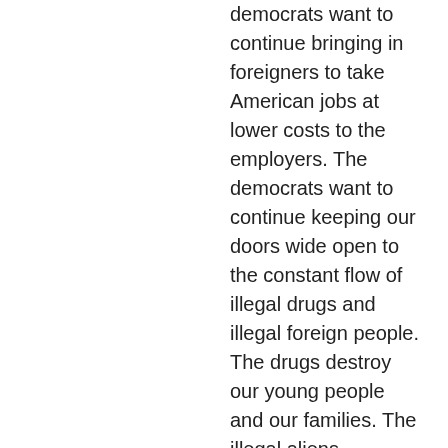democrats want to continue bringing in foreigners to take American jobs at lower costs to the employers. The democrats want to continue keeping our doors wide open to the constant flow of illegal drugs and illegal foreign people. The drugs destroy our young people and our families. The illegal aliens overwhelm our public education system and our medical system, both degrading access to good education and good healthcare for you, your family and all other American citizens. We, Americans, are willing to use our money to help OUR fellow citizens in need, but the fact is, fireign illegals in our nation cost us around a billion dollars EVERY YEAR, just in basics like education and medical care. But many, many millions of these illegals are also on welfare and stay on welfare for lots of years, maybe permanently. Then, we also have the